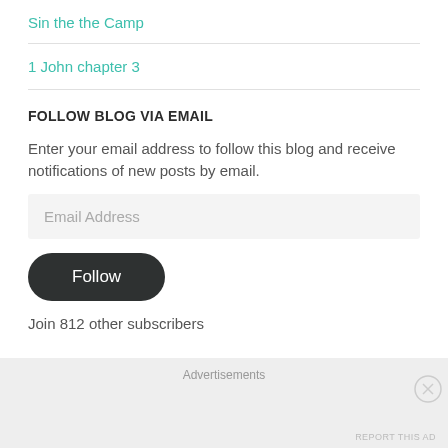Sin the the Camp
1 John chapter 3
FOLLOW BLOG VIA EMAIL
Enter your email address to follow this blog and receive notifications of new posts by email.
Follow
Join 812 other subscribers
Advertisements